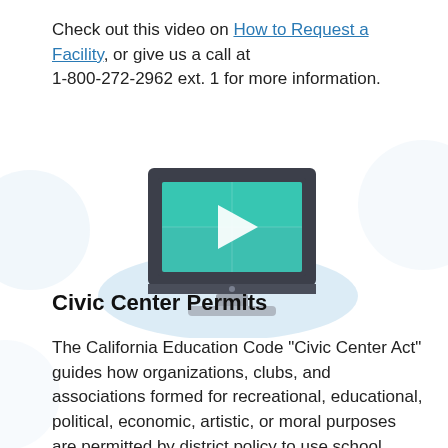Check out this video on How to Request a Facility, or give us a call at 1-800-272-2962 ext. 1 for more information.
[Figure (illustration): Illustration of a desktop computer monitor displaying a teal video play button screen, with a light blue elliptical shadow beneath, representing a video tutorial]
Civic Center Permits
The California Education Code "Civic Center Act" guides how organizations, clubs, and associations formed for recreational, educational, political, economic, artistic, or moral purposes are permitted by district policy to use school buildings and grounds. Such use is called “civic center use” and must be